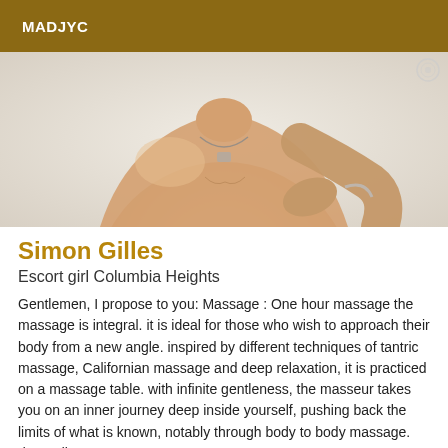MADJYC
[Figure (photo): Shirtless man with necklace and bracelet, photographed from chest up against a light background]
Simon Gilles
Escort girl Columbia Heights
Gentlemen, I propose to you: Massage : One hour massage the massage is integral. it is ideal for those who wish to approach their body from a new angle. inspired by different techniques of tantric massage, Californian massage and deep relaxation, it is practiced on a massage table. with infinite gentleness, the masseur takes you on an inner journey deep inside yourself, pushing back the limits of what is known, notably through body to body massage. depending on